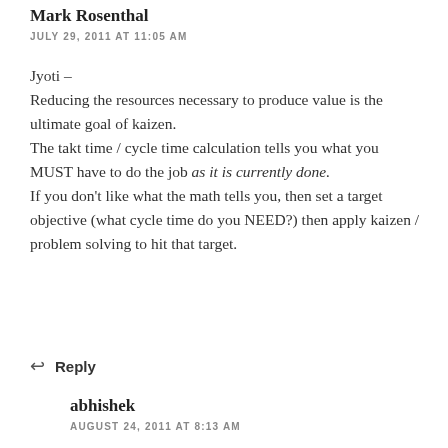Mark Rosenthal
JULY 29, 2011 AT 11:05 AM
Jyoti –
Reducing the resources necessary to produce value is the ultimate goal of kaizen.
The takt time / cycle time calculation tells you what you MUST have to do the job as it is currently done.
If you don't like what the math tells you, then set a target objective (what cycle time do you NEED?) then apply kaizen / problem solving to hit that target.
↩ Reply
abhishek
AUGUST 24, 2011 AT 8:13 AM